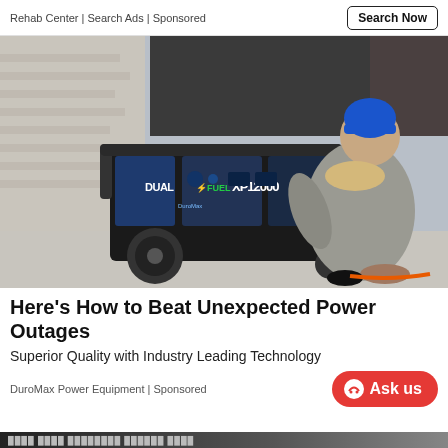Rehab Center | Search Ads | Sponsored
[Figure (photo): A woman in a blue beanie and grey fur-collared coat kneeling beside a DuroMax DUAL FUEL XP12000HX portable generator outside near a brick wall.]
Here's How to Beat Unexpected Power Outages
Superior Quality with Industry Leading Technology
DuroMax Power Equipment | Sponsored